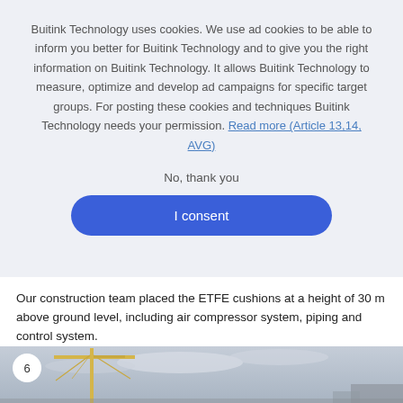Buitink Technology uses cookies. We use ad cookies to be able to inform you better for Buitink Technology and to give you the right information on Buitink Technology. It allows Buitink Technology to measure, optimize and develop ad campaigns for specific target groups. For posting these cookies and techniques Buitink Technology needs your permission. Read more (Article 13,14, AVG)
No, thank you
I consent
Our construction team placed the ETFE cushions at a height of 30 m above ground level, including air compressor system, piping and control system.
[Figure (photo): Photograph of a construction site with a yellow crane against a cloudy sky, with a numbered badge '6' in the top left corner.]